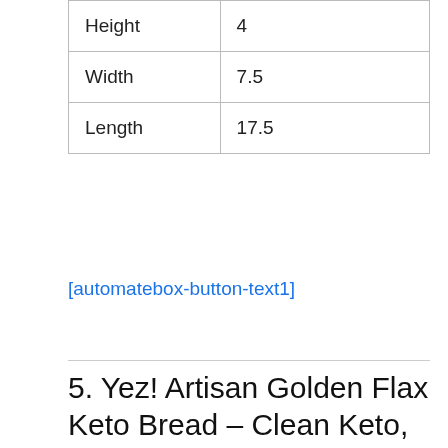| Height | 4 |
| Width | 7.5 |
| Length | 17.5 |
[automatebox-button-text1]
5. Yez! Artisan Golden Flax Keto Bread – Clean Keto, Paleo, Vegan – Low carb, Gluten free, Wheat free, Grain free, Soy free, Diabetic Friendly,